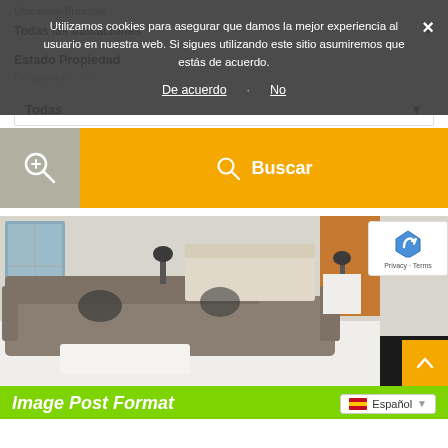Utilizamos cookies para asegurar que damos la mejor experiencia al usuario en nuestra web. Si sigues utilizando este sitio asumiremos que estás de acuerdo.
De acuerdo · No
Todas las ubicaciones
Estado Propiedad
Todas
[Figure (screenshot): Orange Buscar (search) button with magnifying glass icon on left gray panel]
[Figure (photo): Modern living room interior with gray sectional sofa, white coffee table, and bedroom visible in background]
Image Post Format
Español